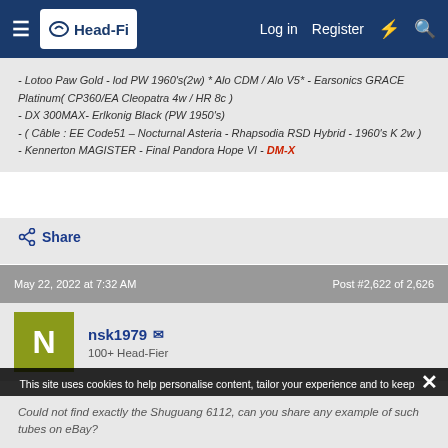Head-Fi | Log in | Register
- Lotoo Paw Gold - lod PW 1960's(2w) * Alo CDM / Alo V5* - Earsonics GRACE Platinum( CP360/EA Cleopatra 4w / HR 8c )
- DX 300MAX- Erlkonig Black (PW 1950's)
- ( Câble : EE Code51 – Nocturnal Asteria - Rhapsodia RSD Hybrid - 1960's K 2w )
- Kennerton MAGISTER - Final Pandora Hope VI - DM-X
Share
May 22, 2022 at 7:32 AM | Post #2,622 of 2,626
nsk1979
100+ Head-Fier
This site uses cookies to help personalise content, tailor your experience and to keep you logged in if you register. By continuing to use this site, you are consenting to our use of cookies.
Could not find exactly the Shuguang 6112, can you share any example of such tubes on eBay?